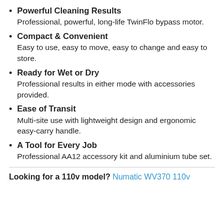Powerful Cleaning Results
Professional, powerful, long-life TwinFlo bypass motor.
Compact & Convenient
Easy to use, easy to move, easy to change and easy to store.
Ready for Wet or Dry
Professional results in either mode with accessories provided.
Ease of Transit
Multi-site use with lightweight design and ergonomic easy-carry handle.
A Tool for Every Job
Professional AA12 accessory kit and aluminium tube set.
Looking for a 110v model? Numatic WV370 110v